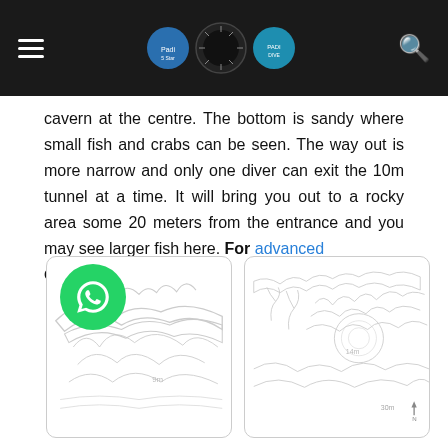[Navigation bar with hamburger menu, logos, and search icon]
cavern at the centre. The bottom is sandy where small fish and crabs can be seen. The way out is more narrow and only one diver can exit the 10m tunnel at a time. It will bring you out to a rocky area some 20 meters from the entrance and you may see larger fish here. For advanced divers only!
[Figure (illustration): Left: Line drawing/map of a dive site showing cavern/rock formations with depth markings]
[Figure (illustration): Right: Line drawing/map of another dive site view with depth markings (14m, 30m) and north compass indicator]